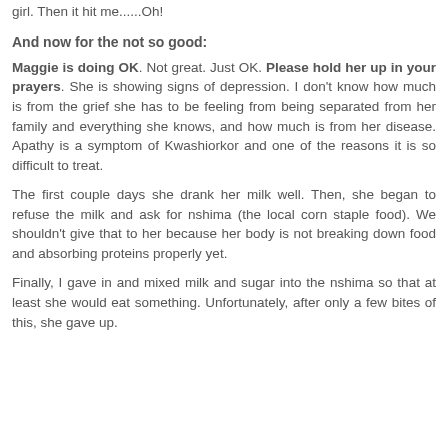girl. Then it hit me......Oh!
And now for the not so good:
Maggie is doing OK. Not great. Just OK. Please hold her up in your prayers. She is showing signs of depression. I don't know how much is from the grief she has to be feeling from being separated from her family and everything she knows, and how much is from her disease. Apathy is a symptom of Kwashiorkor and one of the reasons it is so difficult to treat.
The first couple days she drank her milk well. Then, she began to refuse the milk and ask for nshima (the local corn staple food). We shouldn't give that to her because her body is not breaking down food and absorbing proteins properly yet.
Finally, I gave in and mixed milk and sugar into the nshima so that at least she would eat something. Unfortunately, after only a few bites of this, she gave up.